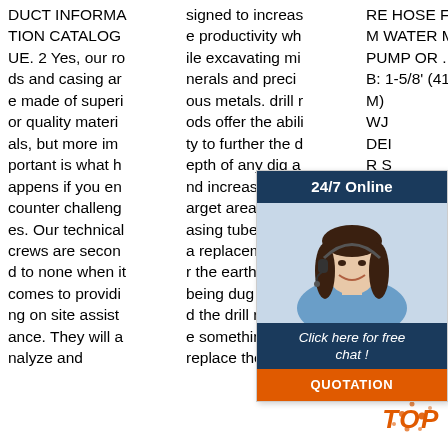DUCT INFORMATION CATALOG UE. 2 Yes, our rods and casing are made of superior quality materials, but more important is what happens if you encounter challenges. Our technical crews are second to none when it comes to providing on site assistance. They will analyze and
signed to increase productivity while excavating minerals and precious metals. drill rods offer the ability to further the depth of any dig and increase the target area, and casing tubes offer a replacement for the earth that is being dug up and the drill rods are something that replace them.
RE HOSE FROM WATER MUD PUMP OR ... SUB: 1-5/8' (41.3M) ... WJ DEIR SOWER 'SUING TY ... Drill rod sizes are identified by rod size letter designations. Description Part # l
[Figure (infographic): Customer service widget showing '24/7 Online' header in dark blue, a photo of a woman with headset, 'Click here for free chat!' text in dark blue box, and an orange QUOTATION button. Also includes a red/orange 'TOP' badge with decorative dots.]